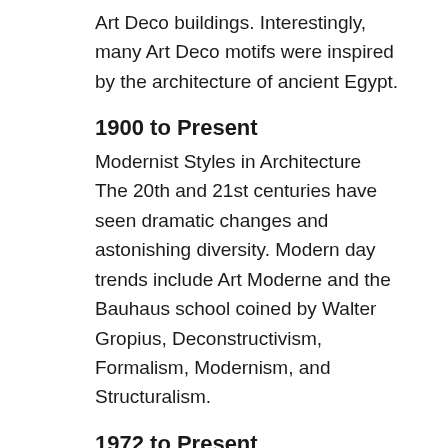Art Deco buildings. Interestingly, many Art Deco motifs were inspired by the architecture of ancient Egypt.
1900 to Present
Modernist Styles in Architecture
The 20th and 21st centuries have seen dramatic changes and astonishing diversity. Modern day trends include Art Moderne and the Bauhaus school coined by Walter Gropius, Deconstructivism, Formalism, Modernism, and Structuralism.
1972 to Present
Postmodernism in Architecture
A reaction against the Modernist approaches gave rise to new buildings that re-invented historical